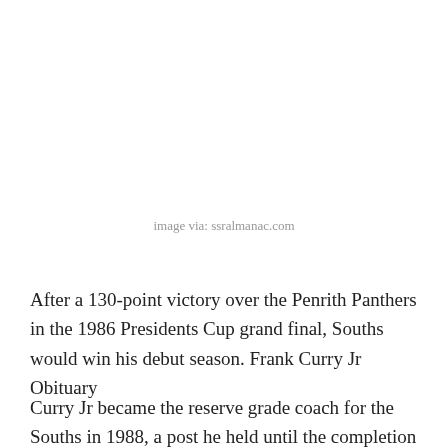image via: ssralmanac.com
After a 130-point victory over the Penrith Panthers in the 1986 Presidents Cup grand final, Souths would win his debut season. Frank Curry Jr Obituary
Curry Jr became the reserve grade coach for the Souths in 1988, a post he held until the completion of